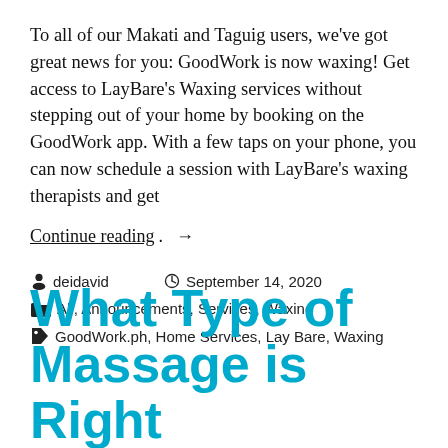To all of our Makati and Taguig users, we've got great news for you: GoodWork is now waxing! Get access to LayBare's Waxing services without stepping out of your home by booking on the GoodWork app. With a few taps on your phone, you can now schedule a session with LayBare's waxing therapists and get
Continue reading →
deidavid   September 14, 2020
All, Announcements, Services, Waxing
GoodWork.ph, Home Services, Lay Bare, Waxing
What Type of Massage is Right...